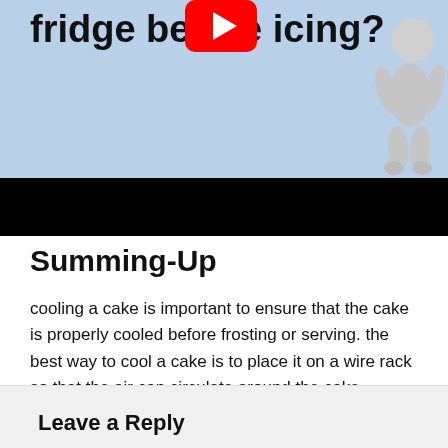[Figure (screenshot): Video thumbnail showing partial text 'fridge before icing?' on a light blue background with a YouTube play button icon and a 3D cartoon figure on the right. Below the thumbnail is a black bar (video controls area).]
Summing-Up
cooling a cake is important to ensure that the cake is properly cooled before frosting or serving. the best way to cool a cake is to place it on a wire rack so that the air can circulate around the cake. another option is to place the cake in the refrigerator.
Leave a Reply